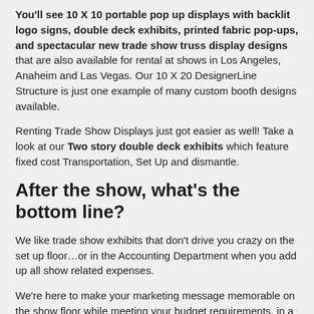You'll see 10 X 10 portable pop up displays with backlit logo signs, double deck exhibits, printed fabric pop-ups, and spectacular new trade show truss display designs that are also available for rental at shows in Los Angeles, Anaheim and Las Vegas. Our 10 X 20 DesignerLine Structure is just one example of many custom booth designs available.
Renting Trade Show Displays just got easier as well! Take a look at our Two story double deck exhibits which feature fixed cost Transportation, Set Up and dismantle.
After the show, what's the bottom line?
We like trade show exhibits that don't drive you crazy on the set up floor…or in the Accounting Department when you add up all show related expenses.
We're here to make your marketing message memorable on the show floor while meeting your budget requirements, in a professional business-like manner. These are our favorites and we'll tell you why!